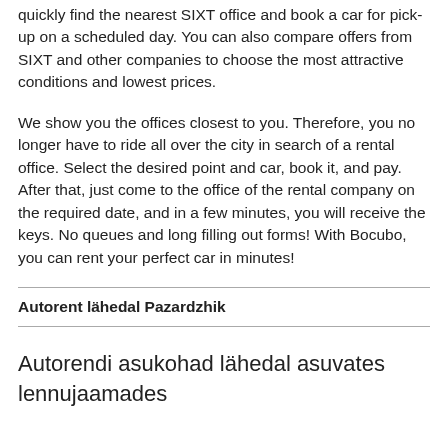quickly find the nearest SIXT office and book a car for pick-up on a scheduled day. You can also compare offers from SIXT and other companies to choose the most attractive conditions and lowest prices.
We show you the offices closest to you. Therefore, you no longer have to ride all over the city in search of a rental office. Select the desired point and car, book it, and pay. After that, just come to the office of the rental company on the required date, and in a few minutes, you will receive the keys. No queues and long filling out forms! With Bocubo, you can rent your perfect car in minutes!
Autorent lähedal Pazardzhik
Autorendi asukohad lähedal asuvates lennujaamades